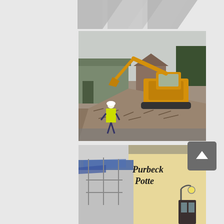[Figure (photo): Partial logo or graphic at top of page, dark chevron/arrow shapes on light grey background]
[Figure (photo): Construction/demolition site photo: a yellow excavator (JCB type) working on a pile of rubble and broken bricks. A worker in a high-visibility yellow vest and white hard hat is standing near the debris. Background shows industrial buildings and trees under an overcast sky.]
[Figure (photo): Photo of a building under construction/renovation with blue tarpaulins on the roof. In the background/foreground is a yellow building with black cursive text reading 'Purbeck Pottery' and a lamp post-style light fixture.]